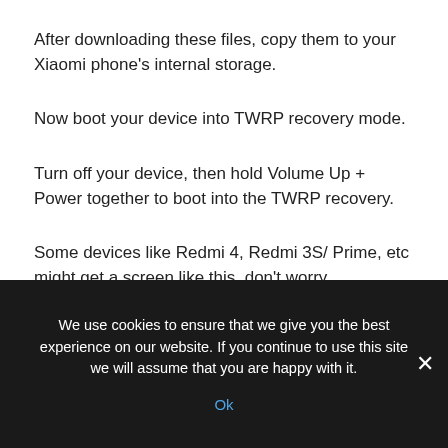After downloading these files, copy them to your Xiaomi phone's internal storage.
Now boot your device into TWRP recovery mode.
Turn off your device, then hold Volume Up + Power together to boot into the TWRP recovery.
Some devices like Redmi 4, Redmi 3S/ Prime, etc might get a screen like this, don't worry.
Select recovery from here, then click the blue button. Then it will show the TWRP menu. If you own a Redmi Note 4, Redmi
We use cookies to ensure that we give you the best experience on our website. If you continue to use this site we will assume that you are happy with it.
Ok